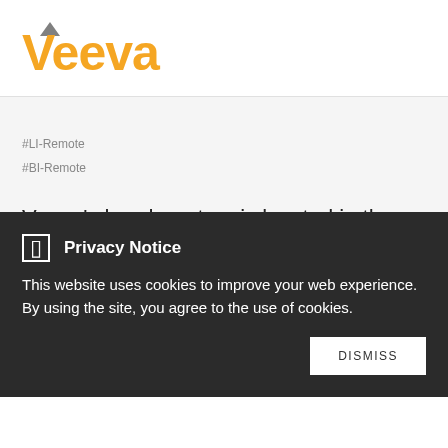[Figure (logo): Veeva logo in orange with a grey triangle above the letter V]
#LI-Remote
#BI-Remote
Veeva's headquarters is located in the San Francisco Bay Area with offices in more than 15 countries around
Privacy Notice
This website uses cookies to improve your web experience. By using the site, you agree to the use of cookies.
DISMISS